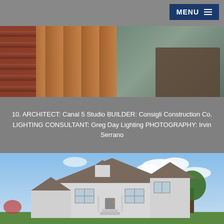MENU
[Figure (photo): Interior photo showing wooden deck/floor with brick wall on left and living room with dark sofa and coffee table on right]
10. ARCHITECT: Canal 5 Studio BUILDER: Consigli Construction Co. LIGHTING CONSULTANT: Greg Day Lighting PHOTOGRAPHY: Irvin Serrano
[Figure (photo): Exterior photo of a two-story white/grey craftsman-style house with metal roof, multiple gabled dormers, and blue sky with clouds in background]